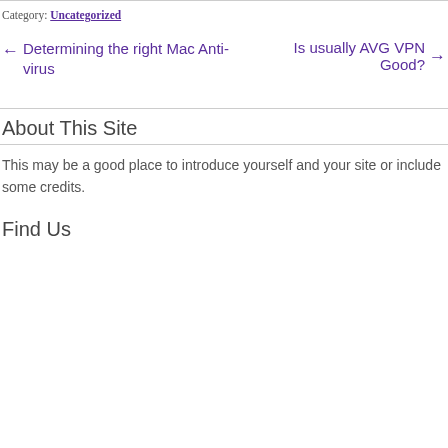Category: Uncategorized
← Determining the right Mac Anti-virus
Is usually AVG VPN Good? →
About This Site
This may be a good place to introduce yourself and your site or include some credits.
Find Us